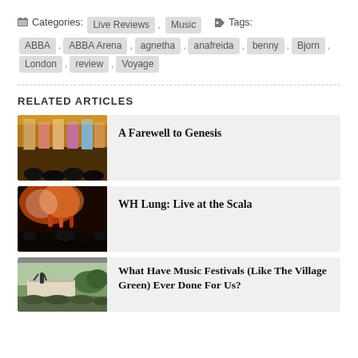Categories: Live Reviews , Music   Tags: ABBA , ABBA Arena , agnetha , anafreida , benny , Bjorn , London , review , Voyage
RELATED ARTICLES
[Figure (photo): Concert stage with large video screens showing colorful images, crowd in foreground]
A Farewell to Genesis
[Figure (photo): Dark concert photo with orange/red stage lighting, band on stage, crowd silhouettes in foreground]
WH Lung: Live at the Scala
[Figure (photo): Outdoor festival, performer on stage with arms raised, large crowd in daytime setting]
What Have Music Festivals (Like The Village Green) Ever Done For Us?